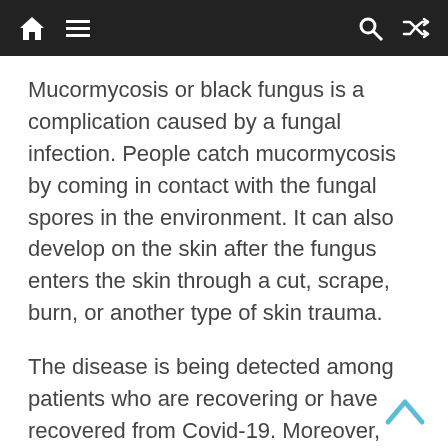Navigation bar with home, menu, search, and shuffle icons
Mucormycosis or black fungus is a complication caused by a fungal infection. People catch mucormycosis by coming in contact with the fungal spores in the environment. It can also develop on the skin after the fungus enters the skin through a cut, scrape, burn, or another type of skin trauma.
The disease is being detected among patients who are recovering or have recovered from Covid-19. Moreover,